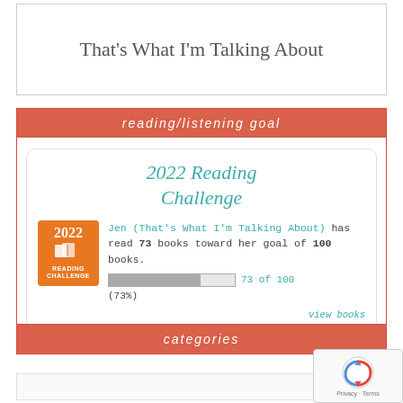That's What I'm Talking About
reading/listening goal
2022 Reading Challenge
Jen (That's What I'm Talking About) has read 73 books toward her goal of 100 books. 73 of 100 (73%)
view books
categories